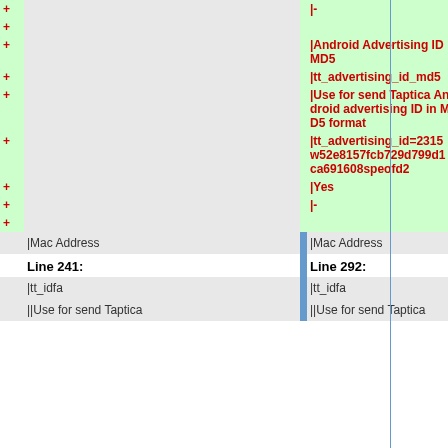| + | left | right |
| --- | --- | --- |
| + | |- |  |
| + |  |  |
| + | |Android Advertising ID MD5 |  |
| + | |tt_advertising_id_md5 |  |
| + | |Use for send Taptica Android advertising ID in MD5 format |  |
| + | |tt_advertising_id=2315w52e8157fcb729d799d1ca691608speofd2 |  |
| + | |Yes |  |
| + | |- |  |
| + |  |  |
|  | |Mac Address | |Mac Address |
| Line 241: |  | Line 292: |
|  | |tt_idfa | |tt_idfa |
|  | ||Use for send Taptica | ||Use for send Taptica |